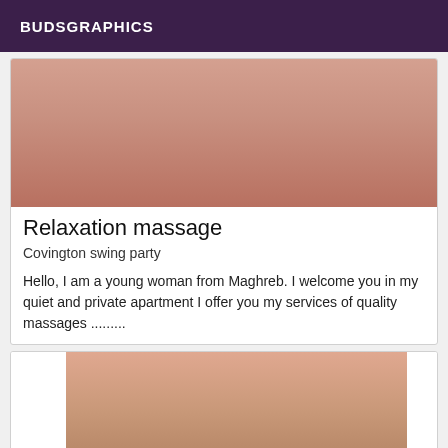BUDSGRAPHICS
[Figure (photo): Close-up photo used as card image, top portion]
Relaxation massage
Covington swing party
Hello, I am a young woman from Maghreb. I welcome you in my quiet and private apartment I offer you my services of quality massages .........
[Figure (photo): Photo in second card showing partial torso in grey top]